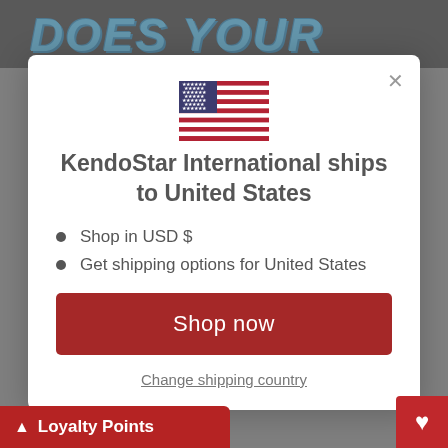[Figure (screenshot): Background with dark banner showing partial blue bold text 'DOES YOUR' and a figure in the top right corner]
[Figure (illustration): US flag SVG illustration centered in the modal]
KendoStar International ships to United States
Shop in USD $
Get shipping options for United States
Shop now
Change shipping country
Loyalty Points